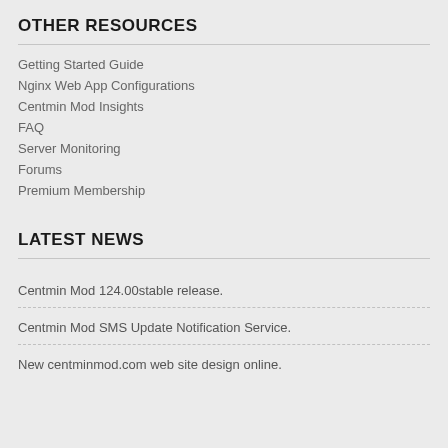OTHER RESOURCES
Getting Started Guide
Nginx Web App Configurations
Centmin Mod Insights
FAQ
Server Monitoring
Forums
Premium Membership
LATEST NEWS
Centmin Mod 124.00stable release.
Centmin Mod SMS Update Notification Service.
New centminmod.com web site design online.